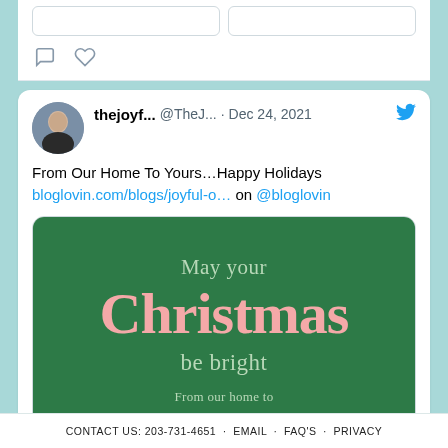[Figure (screenshot): Twitter/X tweet screenshot from user 'thejoyf...' (@TheJ...) dated Dec 24, 2021 with text 'From Our Home To Yours...Happy Holidays bloglovin.com/blogs/joyful-o... on @bloglovin' and a link preview card showing a green Christmas card image with text 'May your Christmas be bright From our home to' and preview from bloglovin.com 'From Our Home To Yours...Happy Holidays (The Joyful Scrumies)']
CONTACT US: 203-731-4651 · EMAIL · FAQ'S · PRIVACY